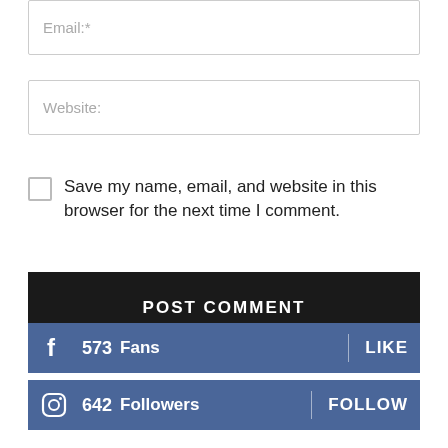Email:*
Website:
Save my name, email, and website in this browser for the next time I comment.
POST COMMENT
573 Fans   LIKE
642 Followers   FOLLOW